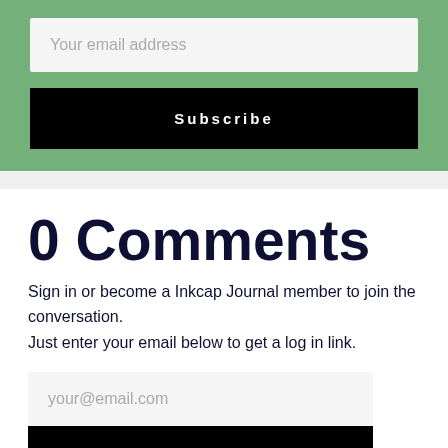Your email address
Subscribe
0 Comments
Sign in or become a Inkcap Journal member to join the conversation.
Just enter your email below to get a log in link.
your@email.com